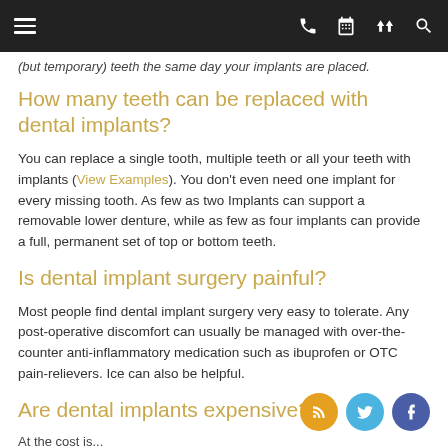Navigation bar with menu, phone, calendar, map, and search icons
(but temporary) teeth the same day your implants are placed.
How many teeth can be replaced with dental implants?
You can replace a single tooth, multiple teeth or all your teeth with implants (View Examples). You don't even need one implant for every missing tooth. As few as two Implants can support a removable lower denture, while as few as four implants can provide a full, permanent set of top or bottom teeth.
Is dental implant surgery painful?
Most people find dental implant surgery very easy to tolerate. Any post-operative discomfort can usually be managed with over-the-counter anti-inflammatory medication such as ibuprofen or OTC pain-relievers. Ice can also be helpful.
Are dental implants expensive?
At the cost is...